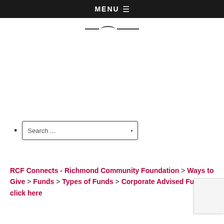MENU ≡
[Figure (logo): Organization logo — stylized text mark with horizontal lines and a curved element]
Search ...
RCF Connects - Richmond Community Foundation > Ways to Give > Funds > Types of Funds > Corporate Advised Funds > click here